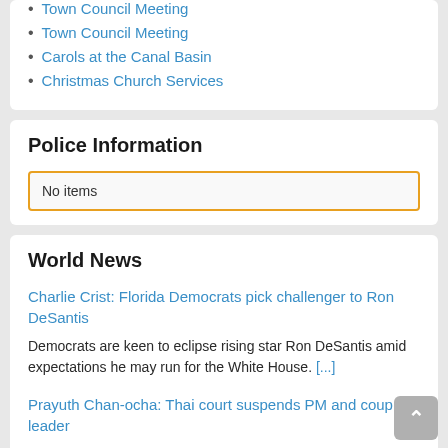Town Council Meeting
Carols at the Canal Basin
Christmas Church Services
Police Information
No items
World News
Charlie Crist: Florida Democrats pick challenger to Ron DeSantis
Democrats are keen to eclipse rising star Ron DeSantis amid expectations he may run for the White House. [...]
Prayuth Chan-ocha: Thai court suspends PM and coup leader
Prayuth Chan-ocha won power in a coup in 2014, but